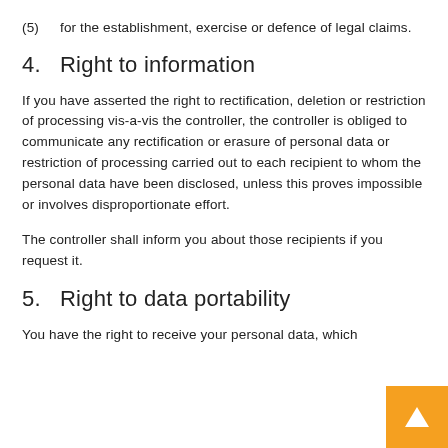(5)   for the establishment, exercise or defence of legal claims.
4.   Right to information
If you have asserted the right to rectification, deletion or restriction of processing vis-a-vis the controller, the controller is obliged to communicate any rectification or erasure of personal data or restriction of processing carried out to each recipient to whom the personal data have been disclosed, unless this proves impossible or involves disproportionate effort.
The controller shall inform you about those recipients if you request it.
5.   Right to data portability
You have the right to receive your personal data, which